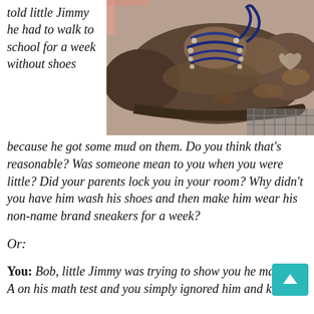told little Jimmy he had to walk to school for a week without shoes
[Figure (photo): Close-up photo of a very muddy, worn-out pair of sneakers/shoes with blue laces, heavily caked with brown mud and dirt.]
because he got some mud on them. Do you think that's reasonable? Was someone mean to you when you were little? Did your parents lock you in your room? Why didn't you have him wash his shoes and then make him wear his non-name brand sneakers for a week?
Or:
You: Bob, little Jimmy was trying to show you he ma A on his math test and you simply ignored him and kept